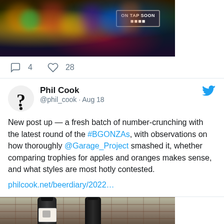[Figure (photo): Photo of a colorful bar interior with neon lights and decorations, with a sign reading 'ON TAP SOON' visible]
4   28
Phil Cook @phil_cook · Aug 18
New post up — a fresh batch of number-crunching with the latest round of the #BGONZAs, with observations on how thoroughly @Garage_Project smashed it, whether comparing trophies for apples and oranges makes sense, and what styles are most hotly contested.
philcook.net/beerdiary/2022…
[Figure (photo): Photo of two dark wine/beer bottles against a brick wall background]